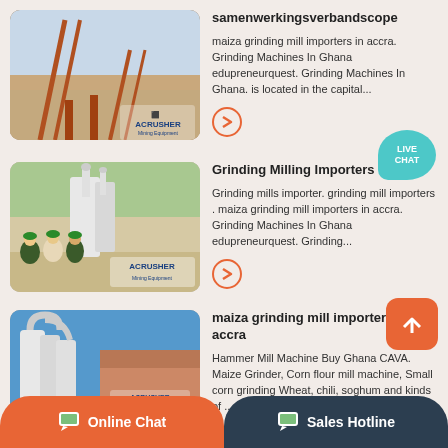[Figure (photo): Industrial mining/crushing equipment with orange conveyor structures at a quarry site. ACRUSHER Mining Equipment logo visible.]
samenwerkingsverbandscope
maiza grinding mill importers in accra. Grinding Machines In Ghana edupreneurquest. Grinding Machines In Ghana. is located in the capital...
[Figure (photo): White industrial grinding mill machinery outdoors with workers in hard hats. ACRUSHER Mining Equipment logo visible.]
Grinding Milling Importers
Grinding mills importer. grinding mill importers . maiza grinding mill importers in accra. Grinding Machines In Ghana edupreneurquest. Grinding...
[Figure (photo): White industrial milling machines in an outdoor facility with blue sky and warehouse building.]
maiza grinding mill importers in accra
Hammer Mill Machine Buy Ghana CAVA. Maize Grinder, Corn flour mill machine, Small corn grinding Wheat, chili, soghum and kinds of ......
Online Chat
Sales Hotline